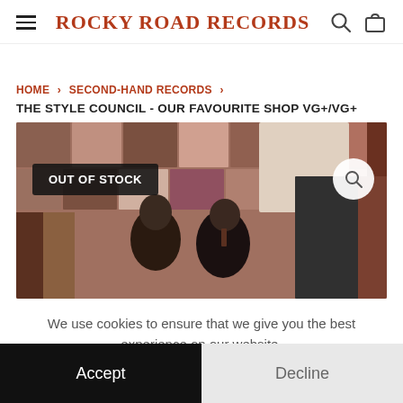Rocky Road Records
HOME › SECOND-HAND RECORDS › THE STYLE COUNCIL - OUR FAVOURITE SHOP VG+/VG+
[Figure (photo): Product photo of The Style Council - Our Favourite Shop vinyl record album cover, showing two people browsing in a record shop. Overlaid with an OUT OF STOCK badge and a magnifier icon.]
We use cookies to ensure that we give you the best experience on our website.
Accept
Decline